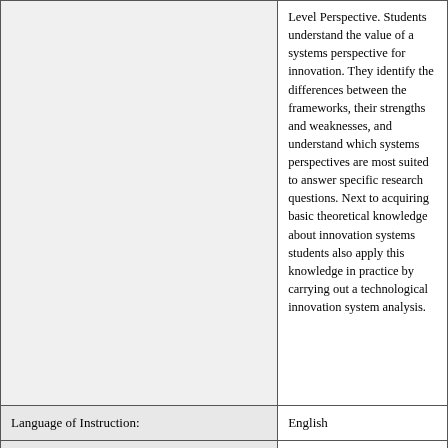|  |  |
| --- | --- |
|  | Level Perspective. Students understand the value of a systems perspective for innovation. They identify the differences between the frameworks, their strengths and weaknesses, and understand which systems perspectives are most suited to answer specific research questions. Next to acquiring basic theoretical knowledge about innovation systems students also apply this knowledge in practice by carrying out a technological innovation system analysis. |
| Language of Instruction: | English |
| Partner Title: | INNOVATION SYSTEMS |
| Partner University Department: | Sustainable Development |
| Partner University Course Number: | GEO1-2208 |